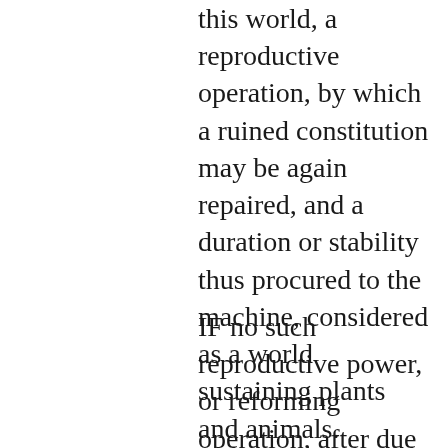this world, a reproductive operation, by which a ruined constitution may be again repaired, and a duration or stability thus procured to the machine, considered as a world sustaining plants and animals.
IF no such reproductive power, or reforming operation, after due enquiry, is to be found in the constitution of this world,